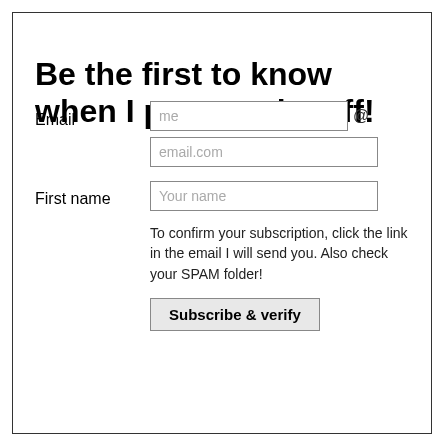Be the first to know when I post cool stuff!
Email
me @ email.com
First name
Your name
To confirm your subscription, click the link in the email I will send you. Also check your SPAM folder!
Subscribe & verify